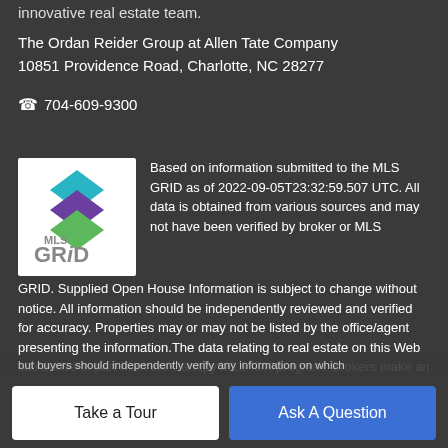innovative real estate team.
The Ordan Reider Group at Allen Tate Company
10851 Providence Road, Charlotte, NC 28277
704-609-9300
[Figure (logo): MLS GRID logo with stacked colored diamond shapes above the text 'MLS GRiD']
Based on information submitted to the MLS GRID as of 2022-09-05T23:32:59.507 UTC. All data is obtained from various sources and may not have been verified by broker or MLS GRID. Supplied Open House Information is subject to change without notice. All information should be independently reviewed and verified for accuracy. Properties may or may not be listed by the office/agent presenting the information.The data relating to real estate on this Web site derive in part from the Canopy MLS IDX program. Brokers make an effort to deliver accurate information,
but buyers should independently verify any information on which
Take a Tour
Ask A Question